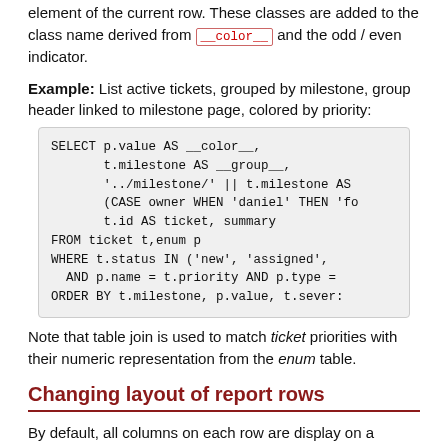element of the current row. These classes are added to the class name derived from __color__ and the odd / even indicator.
Example: List active tickets, grouped by milestone, group header linked to milestone page, colored by priority:
SELECT p.value AS __color__,
       t.milestone AS __group__,
       '../milestone/' || t.milestone AS
       (CASE owner WHEN 'daniel' THEN 'fo
       t.id AS ticket, summary
FROM ticket t,enum p
WHERE t.status IN ('new', 'assigned',
  AND p.name = t.priority AND p.type =
ORDER BY t.milestone, p.value, t.sever:
Note that table join is used to match ticket priorities with their numeric representation from the enum table.
Changing layout of report rows
By default, all columns on each row are display on a